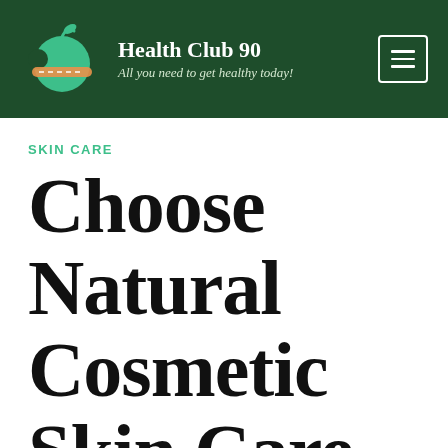Health Club 90 — All you need to get healthy today!
SKIN CARE
Choose Natural Cosmetic Skin Care Instead